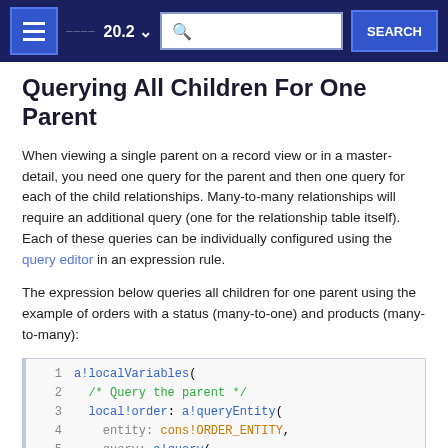20.2 SEARCH
Querying All Children For One Parent
When viewing a single parent on a record view or in a master-detail, you need one query for the parent and then one query for each of the child relationships. Many-to-many relationships will require an additional query (one for the relationship table itself). Each of these queries can be individually configured using the query editor in an expression rule.
The expression below queries all children for one parent using the example of orders with a status (many-to-one) and products (many-to-many):